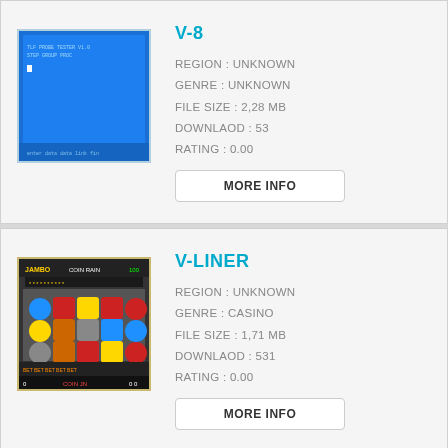[Figure (screenshot): Screenshot of V-8 game showing a blue screen with white text]
V-8
REGION : UNKNOWN
GENRE : UNKNOWN
FILE SIZE : 2,28 MB
DOWNLAOD : 53
RATING : 0.00
[Figure (screenshot): Screenshot of V-LINER slot machine game showing colorful fruit symbols on reels]
V-LINER
REGION : UNKNOWN
GENRE : CASINO
FILE SIZE : 1,71 MB
DOWNLAOD : 531
RATING : 0.00